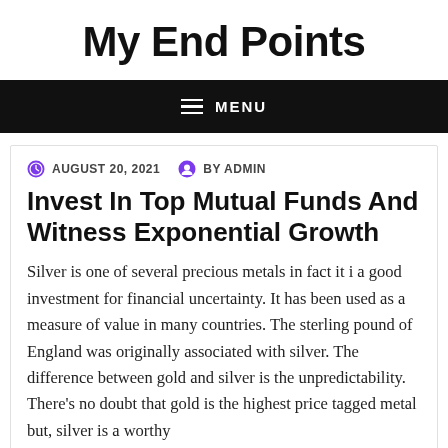My End Points
≡ MENU
AUGUST 20, 2021   BY ADMIN
Invest In Top Mutual Funds And Witness Exponential Growth
Silver is one of several precious metals in fact it i a good investment for financial uncertainty. It has been used as a measure of value in many countries. The sterling pound of England was originally associated with silver. The difference between gold and silver is the unpredictability. There's no doubt that gold is the highest price tagged metal but, silver is a worthy investment...